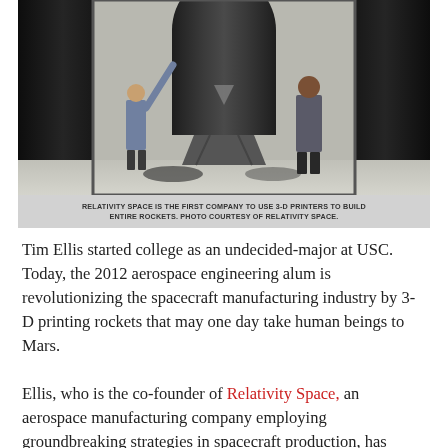[Figure (photo): Two people standing on either side of a large 3-D printed rocket component in a facility. Large black cylindrical structures flank the central metallic rocket body on a stand. One person on the left reaches up toward the rocket.]
RELATIVITY SPACE IS THE FIRST COMPANY TO USE 3-D PRINTERS TO BUILD ENTIRE ROCKETS. PHOTO COURTESY OF RELATIVITY SPACE.
Tim Ellis started college as an undecided-major at USC. Today, the 2012 aerospace engineering alum is revolutionizing the spacecraft manufacturing industry by 3-D printing rockets that may one day take human beings to Mars.
Ellis, who is the co-founder of Relativity Space, an aerospace manufacturing company employing groundbreaking strategies in spacecraft production, has developed a massive 3-D metal